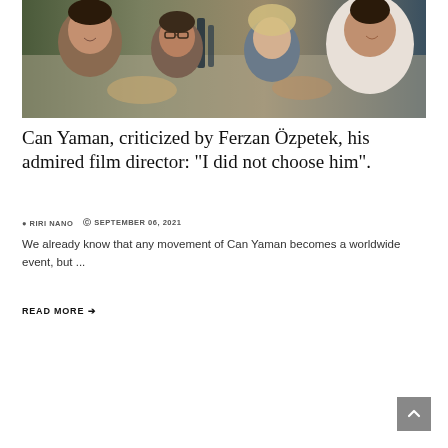[Figure (photo): Group of four people sitting at a restaurant table, smiling, with food and drinks visible.]
Can Yaman, criticized by Ferzan Özpetek, his admired film director: "I did not choose him".
RIRI NANO   SEPTEMBER 06, 2021
We already know that any movement of Can Yaman becomes a worldwide event, but ...
READ MORE →